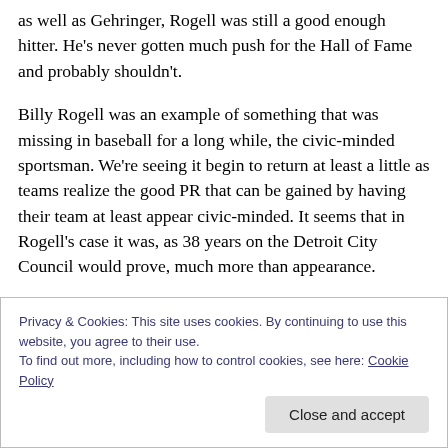as well as Gehringer, Rogell was still a good enough hitter. He's never gotten much push for the Hall of Fame and probably shouldn't.
Billy Rogell was an example of something that was missing in baseball for a long while, the civic-minded sportsman. We're seeing it begin to return at least a little as teams realize the good PR that can be gained by having their team at least appear civic-minded. It seems that in Rogell's case it was, as 38 years on the Detroit City Council would prove, much more than appearance.
Privacy & Cookies: This site uses cookies. By continuing to use this website, you agree to their use.
To find out more, including how to control cookies, see here: Cookie Policy
Close and accept